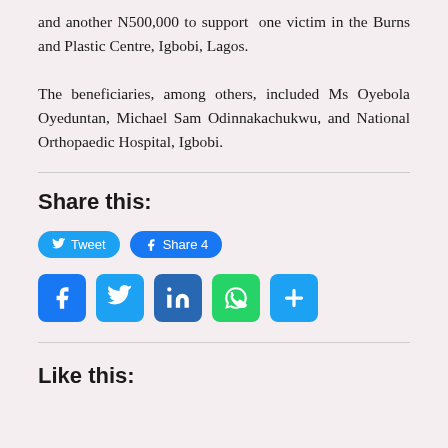and another N500,000 to support one victim in the Burns and Plastic Centre, Igbobi, Lagos.
The beneficiaries, among others, included Ms Oyebola Oyeduntan, Michael Sam Odinnakachukwu, and National Orthopaedic Hospital, Igbobi.
Share this:
[Figure (other): Tweet and Facebook Share 4 buttons, followed by social media icon buttons for Facebook, Twitter, LinkedIn, WhatsApp, and More]
Like this: